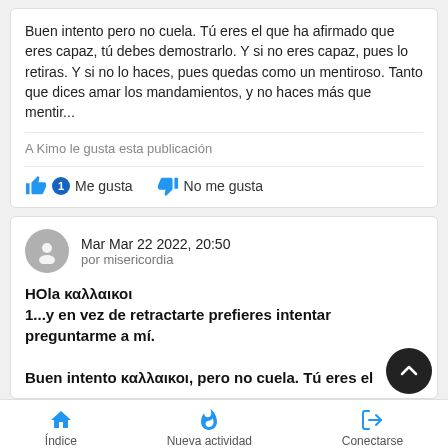Buen intento pero no cuela. Tú eres el que ha afirmado que eres capaz, tú debes demostrarlo. Y si no eres capaz, pues lo retiras. Y si no lo haces, pues quedas como un mentiroso. Tanto que dices amar los mandamientos, y no haces más que mentir...
A Kimo le gusta esta publicación
👍 1  Me gusta   👎  No me gusta
Mar Mar 22 2022, 20:50
por misericordia
HOla καλλαικοι
1...y en vez de retractarte prefieres intentar preguntarme a mí.

Buen intento καλλαικοι, pero no cuela. Tú eres el
Índice   Nueva actividad   Conectarse